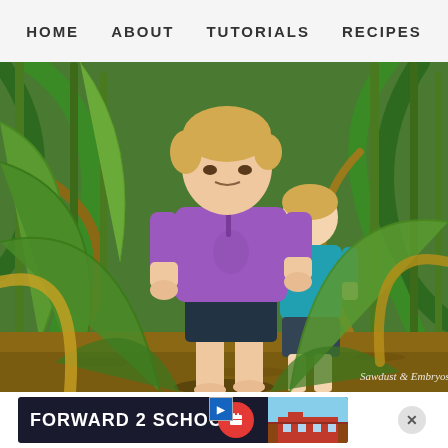HOME   ABOUT   TUTORIALS   RECIPES
[Figure (photo): Two young children (toddlers) walking barefoot through tall green corn stalks in a corn field. The child in the foreground wears a purple shirt and dark shorts; the child behind wears a teal/blue shirt. Watermark reads 'Sawdust & Embryos' in lower right corner.]
[Figure (screenshot): Advertisement banner reading 'FORWARD 2 SCHOOL' in bold white text on dark background, with a red circle icon and a small image of a school building.]